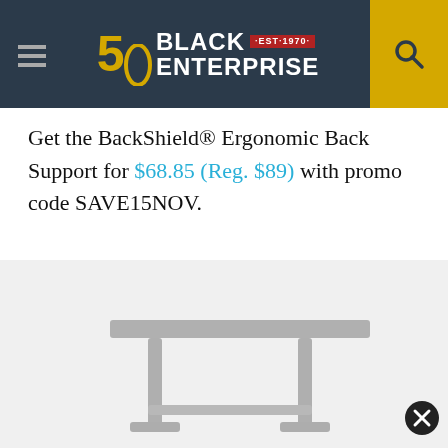Black Enterprise - Est. 1970 (50th Anniversary)
Get the BackShield® Ergonomic Back Support for $68.85 (Reg. $89) with promo code SAVE15NOV.
[Figure (photo): Product image of a standing desk or ergonomic furniture item, shown in gray/silver tones at the bottom of the page]